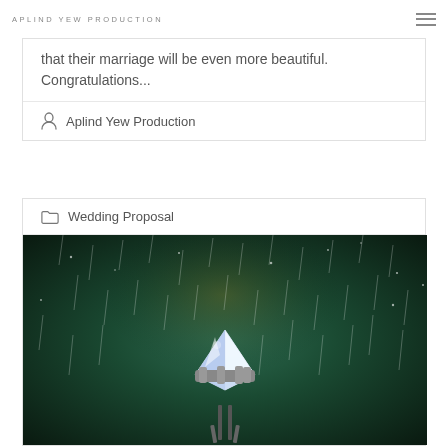APLIND YEW PRODUCTION
that their marriage will be even more beautiful. Congratulations...
Aplind Yew Production
Wedding Proposal
[Figure (photo): Close-up photo of a diamond ring against a dark green bokeh background with rain or sparkle effects]